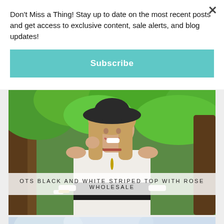Don't Miss a Thing! Stay up to date on the most recent posts and get access to exclusive content, sale alerts, and blog updates!
Subscribe
[Figure (photo): Woman wearing an off-the-shoulder black and white striped top with a dark hat, smiling outdoors among green trees]
OTS BLACK AND WHITE STRIPED TOP WITH ROSE WHOLESALE
[Figure (photo): Partial view of a second blog post photo with winter/outdoor scene, partially visible at bottom]